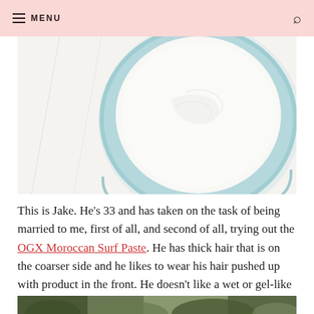MENU
[Figure (photo): Top-down view of an open tub of white hair paste/wax in a light blue container, on a white marble surface.]
This is Jake. He’s 33 and has taken on the task of being married to me, first of all, and second of all, trying out the OGX Moroccan Surf Paste. He has thick hair that is on the coarser side and he likes to wear his hair pushed up with product in the front. He doesn’t like a wet or gel-like look.
[Figure (photo): Bottom portion of a photo showing an outdoor scene with green foliage.]